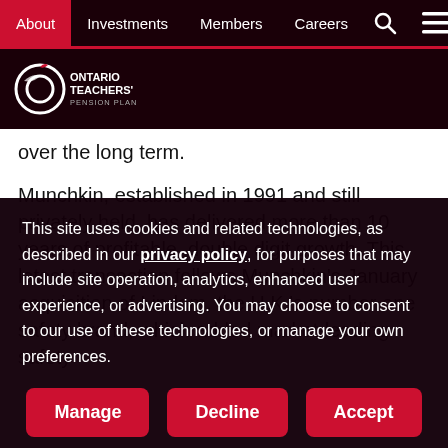About | Investments | Members | Careers
[Figure (logo): Ontario Teachers' Pension Plan logo — white apple/circle icon with text 'ONTARIO TEACHERS' PENSION PLAN' on dark background]
over the long term.
Munchkin, established in 1991 and still privately held, has delivered more than 10 years of profitable, double digit growth. This latest transaction follows Munchkin's January acquisition of Lindam, the U.K.'s number one safety brand, which added market-leading safety
This site uses cookies and related technologies, as described in our privacy policy, for purposes that may include site operation, analytics, enhanced user experience, or advertising. You may choose to consent to our use of these technologies, or manage your own preferences.
Manage | Decline | Accept